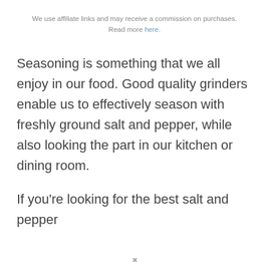We use affiliate links and may receive a commission on purchases. Read more here.
Seasoning is something that we all enjoy in our food. Good quality grinders enable us to effectively season with freshly ground salt and pepper, while also looking the part in our kitchen or dining room.
If you're looking for the best salt and pepper